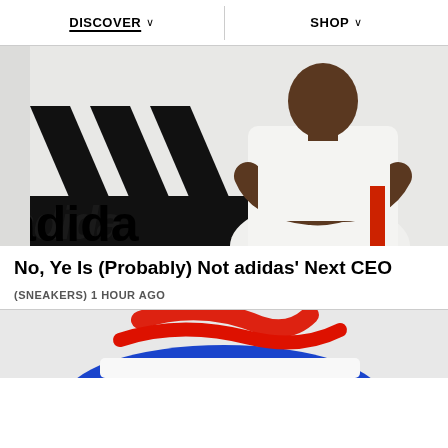DISCOVER  SHOP
[Figure (photo): Man (Ye/Kanye West) standing with arms crossed in front of a large adidas logo on a white wall, wearing a white t-shirt and gold chain necklace]
No, Ye Is (Probably) Not adidas' Next CEO
(SNEAKERS) 1 HOUR AGO
[Figure (photo): Partial view of colorful sneaker with red and blue elements on light gray background]